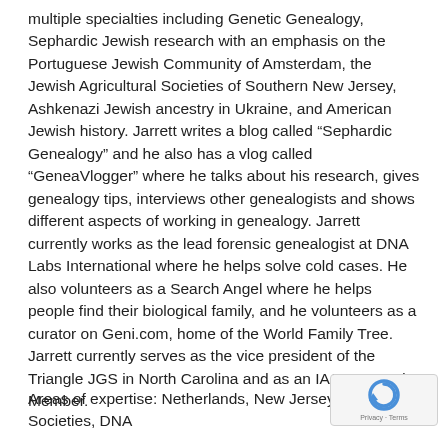multiple specialties including Genetic Genealogy, Sephardic Jewish research with an emphasis on the Portuguese Jewish Community of Amsterdam, the Jewish Agricultural Societies of Southern New Jersey, Ashkenazi Jewish ancestry in Ukraine, and American Jewish history. Jarrett writes a blog called “Sephardic Genealogy” and he also has a vlog called “GeneaVlogger” where he talks about his research, gives genealogy tips, interviews other genealogists and shows different aspects of working in genealogy. Jarrett currently works as the lead forensic genealogist at DNA Labs International where he helps solve cold cases. He also volunteers as a Search Angel where he helps people find their biological family, and he volunteers as a curator on Geni.com, home of the World Family Tree. Jarrett currently serves as the vice president of the Triangle JGS in North Carolina and as an IAJGS Board Member.
Areas of expertise: Netherlands, New Jersey Agricultural Societies, DNA